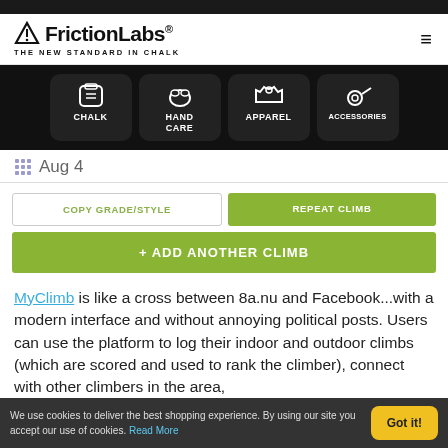FrictionLabs — THE NEW STANDARD IN CHALK
[Figure (screenshot): Navigation bar with four product category icons: CHALK, HAND CARE, APPAREL, ACCESSORIES on dark background]
Aug 4
COPY GRADE/STYLE | REPEAT CLIMB
+ ADD ANOTHER CLIMB
MyClimb is like a cross between 8a.nu and Facebook...with a modern interface and without annoying political posts. Users can use the platform to log their indoor and outdoor climbs (which are scored and used to rank the climber), connect with other climbers in the area,
We use cookies to deliver the best shopping experience. By using our site you accept our use of cookies. Read More